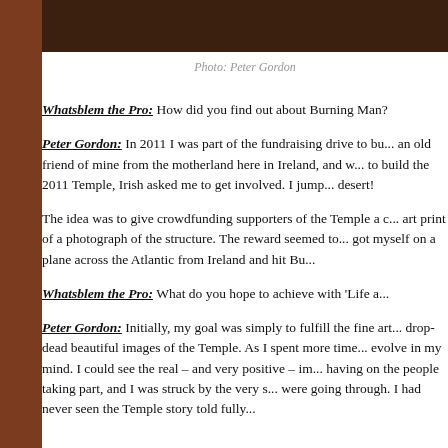[Figure (photo): Top portion of a photograph, dark brown tones, cropped at top of page]
Photo: Peter Gordon
Whatsblem the Pro: How did you find out about Burning Man?
Peter Gordon: In 2011 I was part of the fundraising drive to bu... an old friend of mine from the motherland here in Ireland, and w... to build the 2011 Temple, Irish asked me to get involved. I jump... desert!
The idea was to give crowdfunding supporters of the Temple a ... art print of a photograph of the structure. The reward seemed to... got myself on a plane across the Atlantic from Ireland and hit Bu...
Whatsblem the Pro: What do you hope to achieve with 'Life a...
Peter Gordon: Initially, my goal was simply to fulfill the fine art... drop-dead beautiful images of the Temple. As I spent more time... evolve in my mind. I could see the real – and very positive – im... having on the people taking part, and I was struck by the very s... were going through. I had never seen the Temple story told fully...